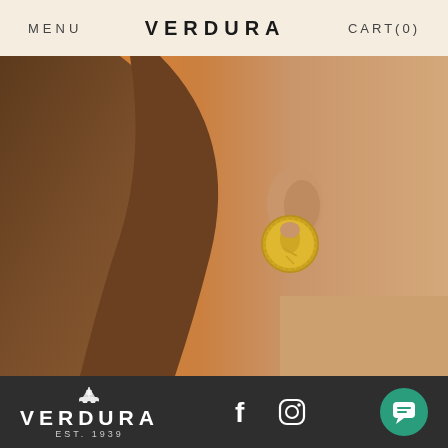MENU   VERDURA   CART(0)
[Figure (photo): Close-up of a woman's ear and neck against an orange background, wearing a gold coin earring with decorative border, hair falling behind ear]
[Figure (logo): Verdura jewelry brand logo with crest/ship emblem above the word VERDURA, EST. 1939 below, white on dark background]
[Figure (other): Facebook and Instagram social media icons in white on dark footer bar]
[Figure (other): Green circular chat/messaging button with speech bubble icon]